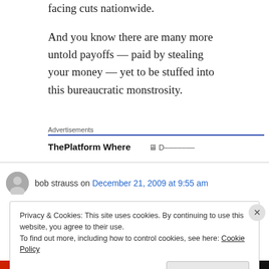facing cuts nationwide.
And you know there are many more untold payoffs — paid by stealing your money — yet to be stuffed into this bureaucratic monstrosity.
Advertisements
ThePlatform Where
bob strauss on December 21, 2009 at 9:55 am
Privacy & Cookies: This site uses cookies. By continuing to use this website, you agree to their use.
To find out more, including how to control cookies, see here: Cookie Policy